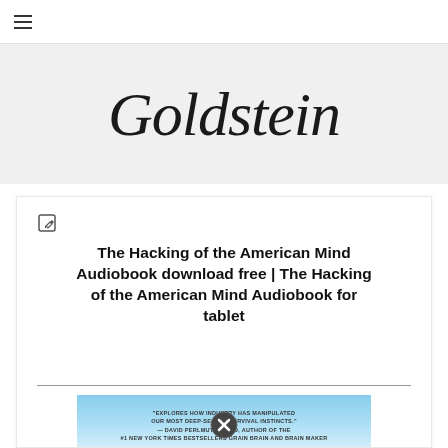☰ (hamburger menu)
[Figure (logo): Goldstein website logo in italic serif script font on grey background]
The Hacking of the American Mind Audiobook download free | The Hacking of the American Mind Audiobook for tablet
[Figure (photo): Book cover of 'The Hacking of the American Mind' with light blue background, showing quote text and a close/X badge overlay]